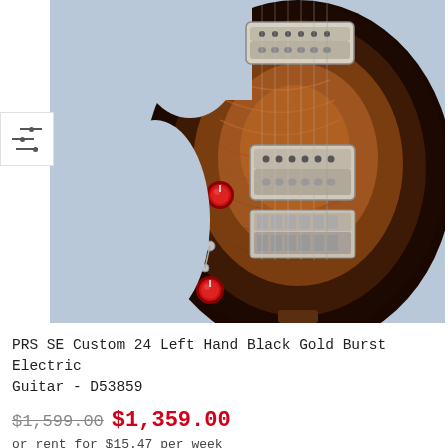[Figure (photo): A PRS SE Custom 24 electric guitar body in Black Gold Burst finish, showing flame maple top with dark burst edges, two humbucking pickups, red control knobs, toggle switch, and bridge, photographed against a light blue background.]
PRS SE Custom 24 Left Hand Black Gold Burst Electric Guitar - D53859
$1,599.00 $1,359.00
or rent for $15.47 per week